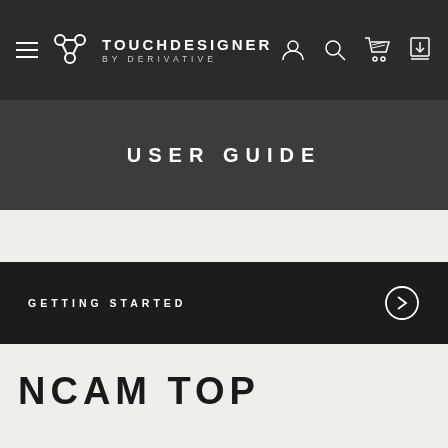TOUCHDESIGNER BY DERIVATIVE
USER GUIDE
GETTING STARTED
NCAM TOP